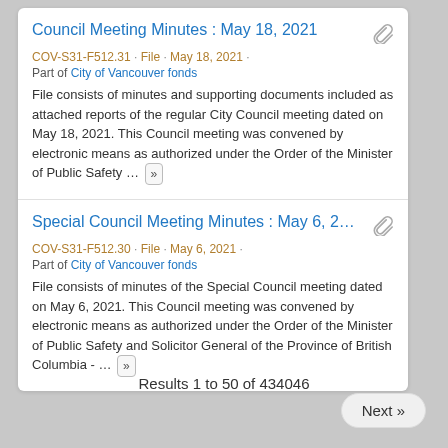Council Meeting Minutes : May 18, 2021
COV-S31-F512.31 · File · May 18, 2021 ·
Part of City of Vancouver fonds
File consists of minutes and supporting documents included as attached reports of the regular City Council meeting dated on May 18, 2021. This Council meeting was convened by electronic means as authorized under the Order of the Minister of Public Safety … »
Special Council Meeting Minutes : May 6, 2…
COV-S31-F512.30 · File · May 6, 2021 ·
Part of City of Vancouver fonds
File consists of minutes of the Special Council meeting dated on May 6, 2021. This Council meeting was convened by electronic means as authorized under the Order of the Minister of Public Safety and Solicitor General of the Province of British Columbia - … »
Results 1 to 50 of 434046
Next »